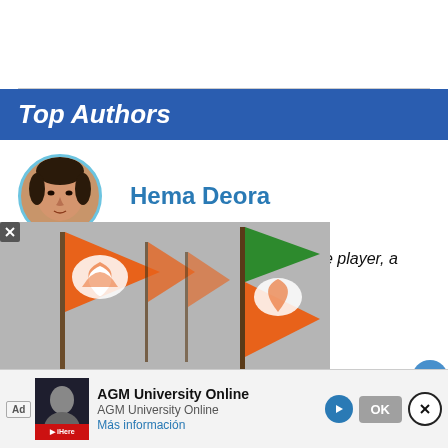Top Authors
[Figure (photo): Circular portrait photo of Hema Deora, a woman with styled hair and jewelry]
Hema Deora
She is an award-winning international bridge player, a
[Figure (photo): BJP party flags (orange and green) with the BJP lotus symbol being waved at a political rally]
hilar technologies, to enhance your browsing experience and provide personalised recommendations. By
contin
[Figure (other): Advertisement banner: Ad label, AGM University Online thumbnail with red bar, play button, AGM University Online title, AGM University Online subtitle, Más información link, close button (X circle), and OK button]